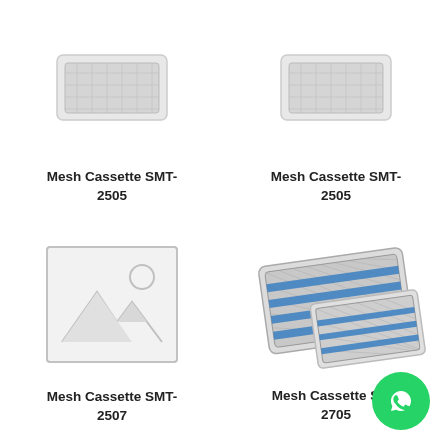[Figure (photo): Partial top of a mesh cassette product image, cropped at top-left]
Mesh Cassette SMT-2505
[Figure (photo): Partial top of a mesh cassette product image, cropped at top-right]
Mesh Cassette SMT-2505
[Figure (photo): Placeholder image with mountain and sun icon for Mesh Cassette SMT-2507]
Mesh Cassette SMT-2507
[Figure (photo): Two metal mesh sterilization cassettes with blue stripes, stacked at an angle]
Mesh Cassette SYT-2705